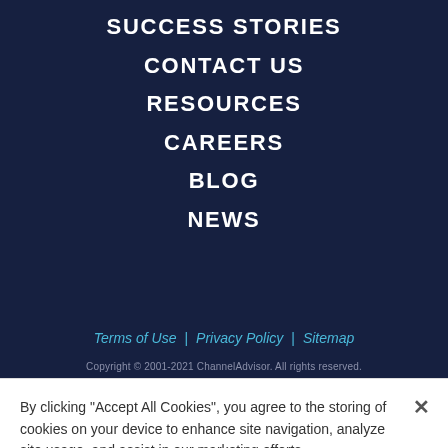SUCCESS STORIES
CONTACT US
RESOURCES
CAREERS
BLOG
NEWS
Terms of Use | Privacy Policy | Sitemap
Copyright © 2001-2021 ChannelAdvisor. All rights reserved.
By clicking “Accept All Cookies”, you agree to the storing of cookies on your device to enhance site navigation, analyze site usage, and assist in our marketing efforts.
Cookies Settings
Accept All Cookies